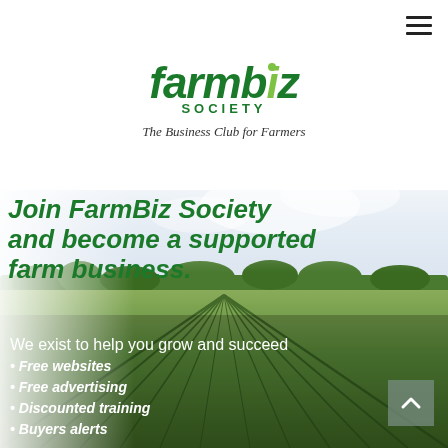[Figure (logo): FarmBiz Society logo with green italic bold text and a lime green dot on the 'i']
The Business Club for Farmers
[Figure (photo): Aerial/wide view of a farm field with rows of crops, trees in the background, partly cloudy sky]
Join FarmBiz Society and become a supported farm business.
We exist to help you grow and succeed
• Free websites
• Free advertising
• Discounted training
• Buyers alerts